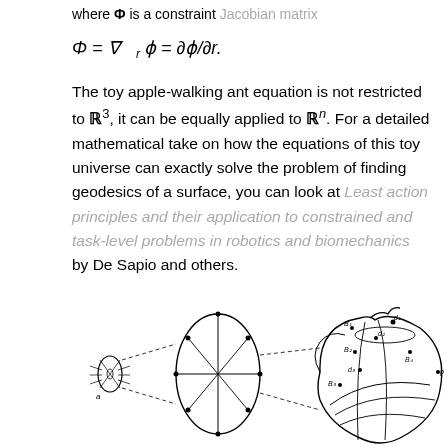where Φ is a constraint Jacobian matrix
The toy apple-walking ant equation is not restricted to ℝ³, it can be equally applied to ℝⁿ. For a detailed mathematical take on how the equations of this toy universe can exactly solve the problem of finding geodesics of a surface, you can look at Least action principles and their application to constrained and task-level problems in robotics and biomechanics by De Sapio and others.
[Figure (illustration): Diagram showing an ant walking on an apple surface with geometric constructions: an elliptical cross-section on the left with dashed lines indicating the tangent plane and constraint surface, connected by dashed lines to an apple shape on the right with labeled points B1, B2, B3, d1, d2, d3, d4, and p, showing geodesic paths on the apple surface.]